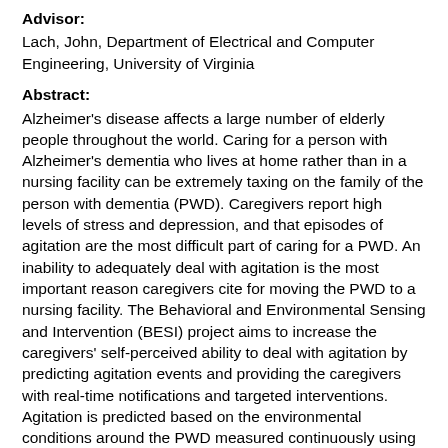Advisor:
Lach, John, Department of Electrical and Computer Engineering, University of Virginia
Abstract:
Alzheimer's disease affects a large number of elderly people throughout the world. Caring for a person with Alzheimer's dementia who lives at home rather than in a nursing facility can be extremely taxing on the family of the person with dementia (PWD). Caregivers report high levels of stress and depression, and that episodes of agitation are the most difficult part of caring for a PWD. An inability to adequately deal with agitation is the most important reason caregivers cite for moving the PWD to a nursing facility. The Behavioral and Environmental Sensing and Intervention (BESI) project aims to increase the caregivers' self-perceived ability to deal with agitation by predicting agitation events and providing the caregivers with real-time notifications and targeted interventions. Agitation is predicted based on the environmental conditions around the PWD measured continuously using a sensor system deployed in the home. Physical agitation and the behaviors that lead up agitation events are measured using a